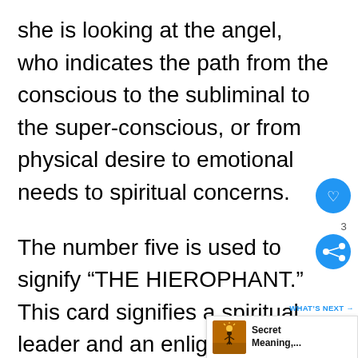she is looking at the angel, who indicates the path from the conscious to the subliminal to the super-conscious, or from physical desire to emotional needs to spiritual concerns.
The number five is used to signify “THE HIEROPHANT.” This card signifies a spiritual leader and an enlightened individual, and it serves as a powerful reminder of the need of learning vital lessons. When this card is turned, it shows a desire to become spiritually
[Figure (screenshot): UI overlay with heart/like button (blue circle with white heart icon), share count '3', share button (blue circle with share icon), and a 'WHAT'S NEXT' banner showing a thumbnail image and text 'Secret Meaning,...']